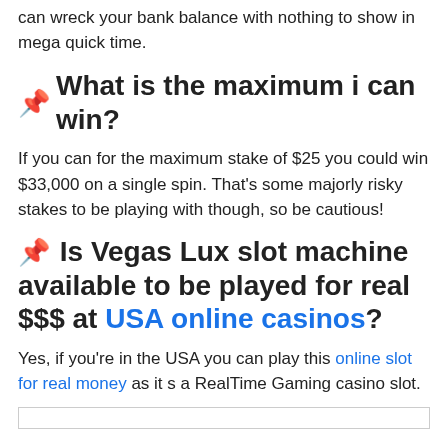can wreck your bank balance with nothing to show in mega quick time.
📌 What is the maximum i can win?
If you can for the maximum stake of $25 you could win $33,000 on a single spin. That's some majorly risky stakes to be playing with though, so be cautious!
📌 Is Vegas Lux slot machine available to be played for real $$$ at USA online casinos?
Yes, if you're in the USA you can play this online slot for real money as it s a RealTime Gaming casino slot.